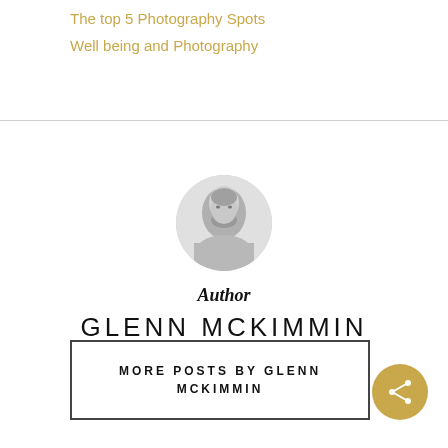The top 5 Photography Spots
Well being and Photography
[Figure (photo): Black and white circular portrait photo of Glenn McKimmin, a man with short grey hair and a beard]
Author
GLENN MCKIMMIN
MORE POSTS BY GLENN MCKIMMIN